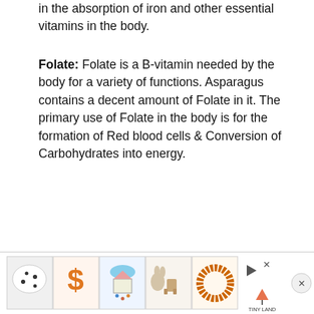in the absorption of iron and other essential vitamins in the body.
Folate: Folate is a B-vitamin needed by the body for a variety of functions. Asparagus contains a decent amount of Folate in it. The primary use of Folate in the body is for the formation of Red blood cells & Conversion of Carbohydrates into energy.
[Figure (other): Advertisement banner with product images including a white helmet with dots, orange letter S shape, a small house with rain cloud, wooden toys, an orange floral wreath, and Tiny Land branding with play and close buttons.]